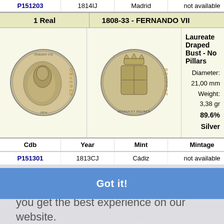| Cdb | Year | Mint | Mintage | N |
| --- | --- | --- | --- | --- |
| P151203 | 1814IJ | Madrid | not available |  |
| P151301 | 1813CJ | Cádiz | not available |  |
| P151302 | 1814GJ | Madrid | not available |  |
| P151303 | 1815GJ | Madrid | not available |  |
| P151304 | 1816GJ | Madrid | not available |  |
| P151305 | 1817GJ | Madrid | not available |  |
| P151306 | 1818GJ | Madrid | not available |  |
| P151315 | 1822D | Sevilla | not available |  |
| P151316 | 1822AJ | Madrid | not available |  |
[Figure (photo): Obverse of a Spanish 1 Real coin from 1808-33 Fernando VII period showing a laureate draped bust.]
[Figure (photo): Reverse of a Spanish 1 Real coin from 1808-33 Fernando VII period.]
Laureate Draped Bust - No Pillars
Diameter: 21,00 mm
Weight: 3,38 gr
89.6% Silver
This website uses cookies to ensure you get the best experience on our website. Learn more